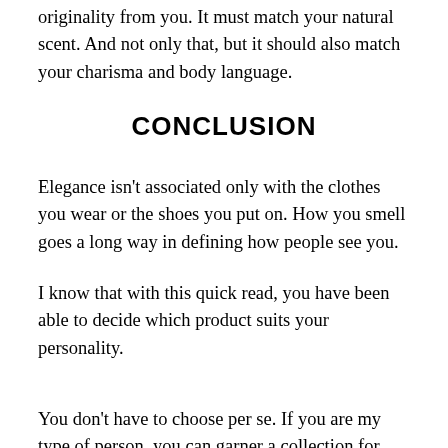originality from you. It must match your natural scent. And not only that, but it should also match your charisma and body language.
CONCLUSION
Elegance isn't associated only with the clothes you wear or the shoes you put on. How you smell goes a long way in defining how people see you.
I know that with this quick read, you have been able to decide which product suits your personality.
You don't have to choose per se. If you are my type of person, you can garner a collection for yourself and put a